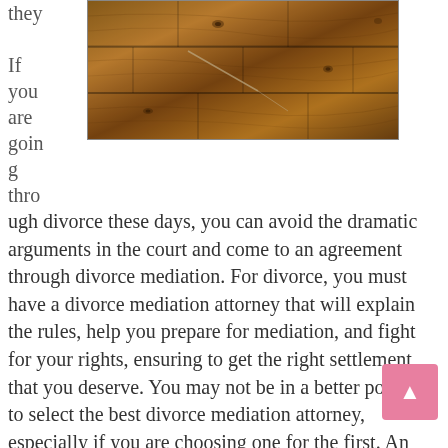they

If you are going through divorce these days, you can avoid the dramatic arguments in the court and come to an agreement through divorce mediation. For divorce, you must have a divorce mediation attorney that will explain the rules, help you prepare for mediation, and fight for your rights, ensuring to get the right settlement that you deserve. You may not be in a better position to select the best divorce mediation attorney, especially if you are choosing one for the first. An easy method of selecting a divorce mediation attorney is taking into consideration essential tips that will help you choose the best divorce mediation attorney. Read the article
[Figure (photo): Photo of a distressed wooden herringbone or plank floor with knots and scratches, warm brown tones]